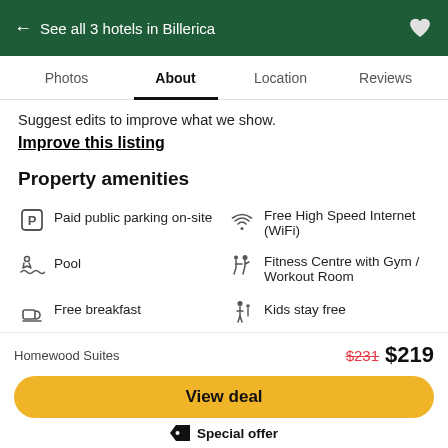← See all 3 hotels in Billerica
Photos  About  Location  Reviews
Suggest edits to improve what we show.
Improve this listing
Property amenities
Paid public parking on-site
Free High Speed Internet (WiFi)
Pool
Fitness Centre with Gym / Workout Room
Free breakfast
Kids stay free
Homewood Suites  $231  $219
View deal
Special offer